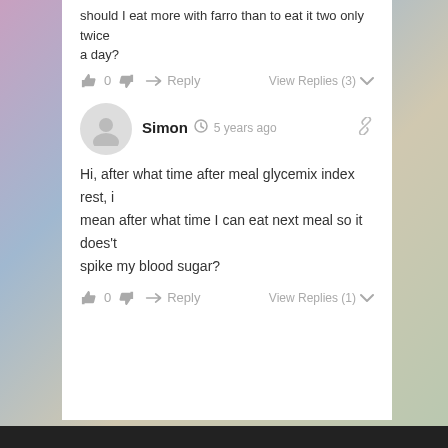should I eat more with farro than to eat it two only twice a day?
👍 0 👎  → Reply   View Replies (3) ∨
Simon  🕐 5 years ago
Hi, after what time after meal glycemix index rest, i mean after what time I can eat next meal so it does't spike my blood sugar?
👍 0 👎  → Reply   View Replies (1) ∨